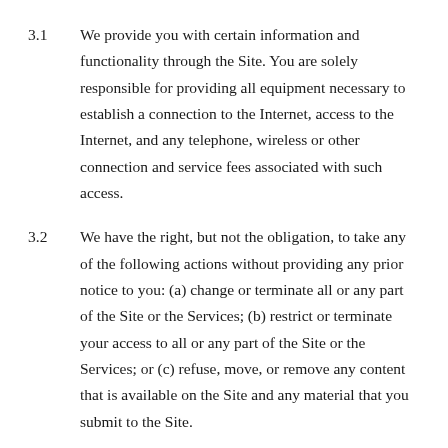3.1      We provide you with certain information and functionality through the Site. You are solely responsible for providing all equipment necessary to establish a connection to the Internet, access to the Internet, and any telephone, wireless or other connection and service fees associated with such access.
3.2      We have the right, but not the obligation, to take any of the following actions without providing any prior notice to you: (a) change or terminate all or any part of the Site or the Services; (b) restrict or terminate your access to all or any part of the Site or the Services; or (c) refuse, move, or remove any content that is available on the Site and any material that you submit to the Site.
3.3      Subject to your compliance with these Terms, we